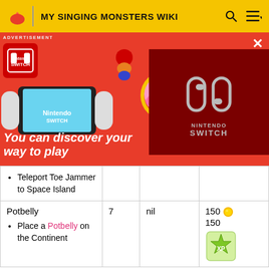MY SINGING MONSTERS WIKI
[Figure (infographic): Nintendo Switch advertisement banner with Mario, Kirby, and Minecraft characters on a red background. Nintendo Switch logo on dark red panel. Text reads: 'You can discover your way to play']
| Teleport Toe Jammer to Space Island |  |  |  |
| Potbelly
• Place a Potbelly on the Continent | 7 | nil | 150 [coin] 150 [XP] |